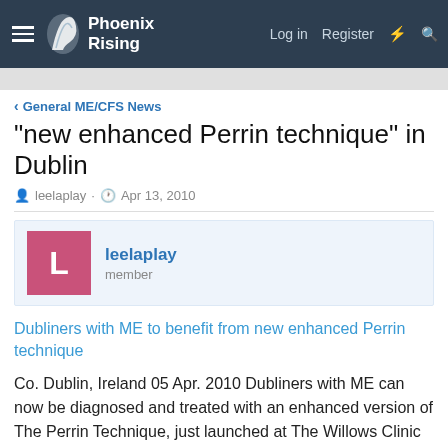Phoenix Rising — Log in  Register
General ME/CFS News
"new enhanced Perrin technique" in Dublin
leelaplay · Apr 13, 2010
leelaplay
member
Dubliners with ME to benefit from new enhanced Perrin technique
Co. Dublin, Ireland 05 Apr. 2010 Dubliners with ME can now be diagnosed and treated with an enhanced version of The Perrin Technique, just launched at The Willows Clinic in Glasnevin, which has been granted an exclusive license to offer this treatment in Leinster.